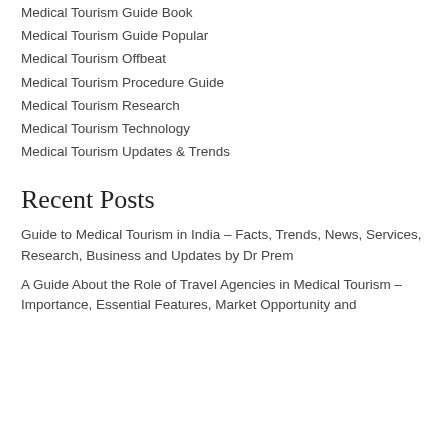Medical Tourism Guide Book
Medical Tourism Guide Popular
Medical Tourism Offbeat
Medical Tourism Procedure Guide
Medical Tourism Research
Medical Tourism Technology
Medical Tourism Updates & Trends
Recent Posts
Guide to Medical Tourism in India – Facts, Trends, News, Services, Research, Business and Updates by Dr Prem
A Guide About the Role of Travel Agencies in Medical Tourism – Importance, Essential Features, Market Opportunity and